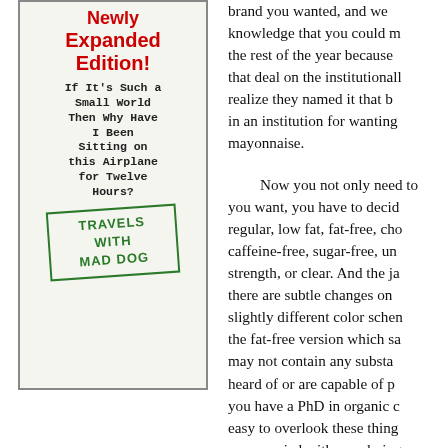[Figure (illustration): Book cover showing 'Newly Expanded Edition!' in red bold text, followed by book title 'If It’s Such a Small World Then Why Have I Been Sitting on this Airplane for Twelve Hours?' in typewriter font, and a green stamp reading 'TRAVELS WITH MAD DOG']
brand you wanted, and we knowledge that you could m the rest of the year because that deal on the institutionall realize they named it that b in an institution for wanting mayonnaise.

Now you not only need t you want, you have to decid regular, low fat, fat-free, ch caffeine-free, sugar-free, u strength, or clear. And the j there are subtle changes o slightly different color sche the fat-free version which s may not contain any subst heard of or are capable of you have a PhD in organic easy to overlook these thin preoccupied with wonderin Warner’s merger with AOL weekly magazine arriving a loud “You’ve got mail!”